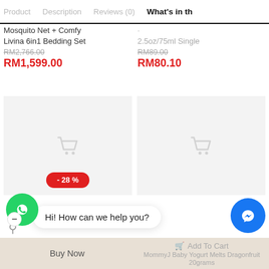Product   Description   Reviews (0)   What's in th
Mosquito Net + Comfy Livina 6in1 Bedding Set
RM2,766.00
RM1,599.00
2.5oz/75ml Single
RM89.00
RM80.10
[Figure (screenshot): Two product image placeholders with shopping cart icons; left one has a red badge showing -28%]
Hi! How can we help you?
Buy Now
MommyJ Baby Yogurt Melts Dragonfruit
Add To Cart
20grams